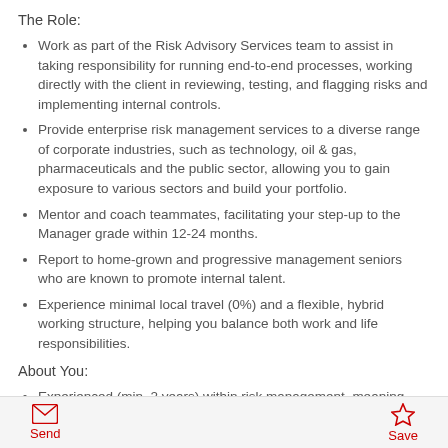The Role:
Work as part of the Risk Advisory Services team to assist in taking responsibility for running end-to-end processes, working directly with the client in reviewing, testing, and flagging risks and implementing internal controls.
Provide enterprise risk management services to a diverse range of corporate industries, such as technology, oil & gas, pharmaceuticals and the public sector, allowing you to gain exposure to various sectors and build your portfolio.
Mentor and coach teammates, facilitating your step-up to the Manager grade within 12-24 months.
Report to home-grown and progressive management seniors who are known to promote internal talent.
Experience minimal local travel (0%) and a flexible, hybrid working structure, helping you balance both work and life responsibilities.
About You:
Experienced (min. 2 years) within risk management, meaning knowledge and practical experience of identifying, mitigating, and managing enterprise risk, either in an industry organisation
Send   Save